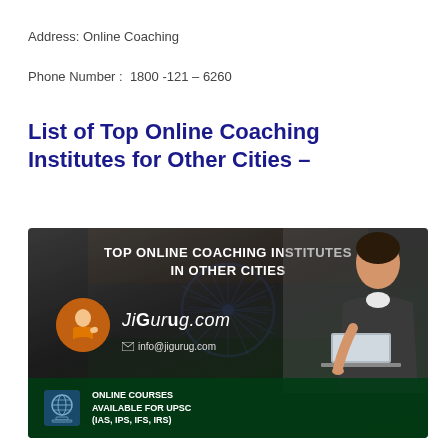Address: Online Coaching
Phone Number :  1800 -121 – 6260
List of Top Online Coaching Institutes for Other Cities –
[Figure (illustration): Promotional banner for JiGurug.com showing top online coaching institutes in other cities. Features Indian flag background with Ashoka Chakra, a cartoon monk mascot, the JiGurug.com logo with email info@jigurug.com, a globe icon, text about online courses available for UPSC (IAS, IPS, IFS, IRS), and a photo of a young man studying at a laptop.]